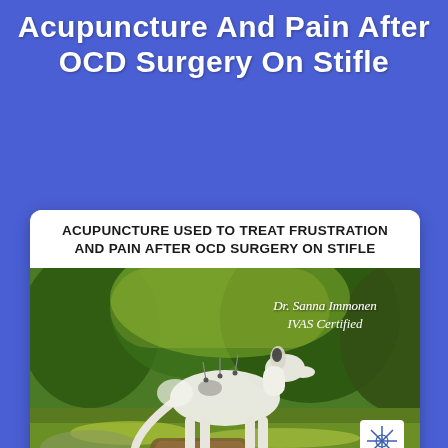Acupuncture And Pain After OCD Surgery On Stifle
[Figure (photo): A card with header text 'ACUPUNCTURE USED TO TREAT FRUSTRATION AND PAIN AFTER OCD SURGERY ON STIFLE' above a photo of a white long-haired dog (Borzoi) standing on grass outdoors with acupuncture needles visible on its back. The image includes overlay text 'Dr. Sanna Immonen IVAS Certified' and a BEVAS logo in the bottom right corner.]